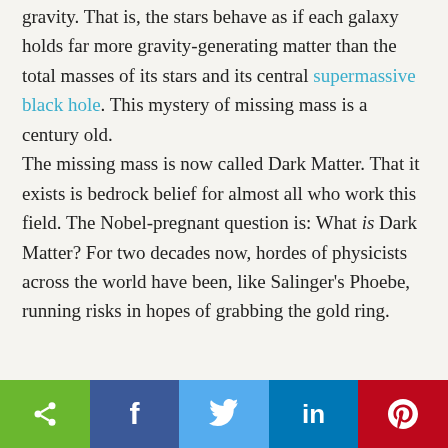gravity. That is, the stars behave as if each galaxy holds far more gravity-generating matter than the total masses of its stars and its central supermassive black hole. This mystery of missing mass is a century old.

The missing mass is now called Dark Matter. That it exists is bedrock belief for almost all who work this field. The Nobel-pregnant question is: What is Dark Matter? For two decades now, hordes of physicists across the world have been, like Salinger's Phoebe, running risks in hopes of grabbing the gold ring.
[Figure (infographic): Social media share bar with icons for share, Facebook, Twitter, LinkedIn, and Pinterest]